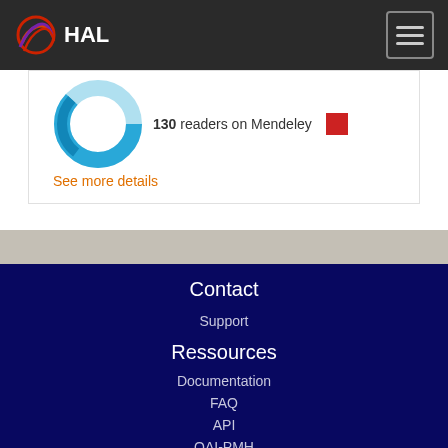HAL
130 readers on Mendeley
See more details
Contact
Support
Ressources
Documentation
FAQ
API
OAI-PMH
AuréHAL
Information